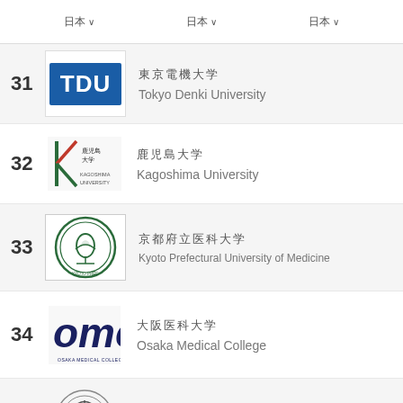日本 ∨   日本 ∨   日本 ∨
31 東京電機大学 Tokyo Denki University
32 鹿児島大学 Kagoshima University
33 京都府立医科大学 Kyoto Prefectural University of Medicine
34 大阪医科大学 Osaka Medical College
35 順天堂大学 Juntendo University